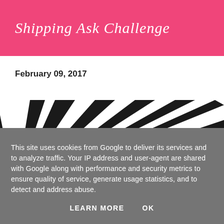Shipping Ask Challenge
February 09, 2017
[Figure (illustration): Starburst / sunburst pattern with black and white radiating diagonal stripes emanating from the bottom-left corner]
This site uses cookies from Google to deliver its services and to analyze traffic. Your IP address and user-agent are shared with Google along with performance and security metrics to ensure quality of service, generate usage statistics, and to detect and address abuse.
LEARN MORE    OK